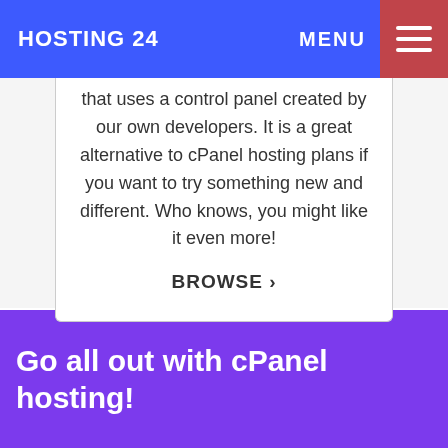HOSTING 24   MENU
that uses a control panel created by our own developers. It is a great alternative to cPanel hosting plans if you want to try something new and different. Who knows, you might like it even more!

BROWSE >
Go all out with cPanel hosting!